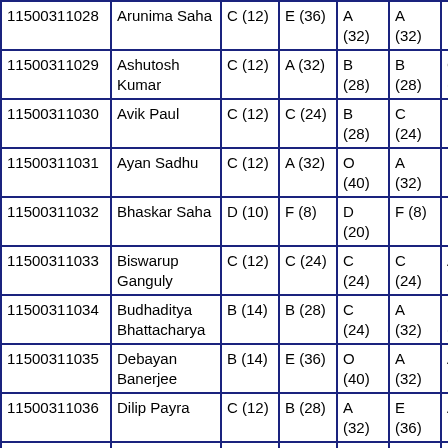| 11500311028 | Arunima Saha | C (12) | E (36) | A (32) | A (32) | B (28… |
| 11500311029 | Ashutosh Kumar | C (12) | A (32) | B (28) | B (28) | C (24… |
| 11500311030 | Avik Paul | C (12) | C (24) | B (28) | C (24) | F (8) |
| 11500311031 | Ayan Sadhu | C (12) | A (32) | O (40) | A (32) | B (28… |
| 11500311032 | Bhaskar Saha | D (10) | F (8) | D (20) | F (8) | F (8) |
| 11500311033 | Biswarup Ganguly | C (12) | C (24) | C (24) | C (24) | A (32… |
| 11500311034 | Budhaditya Bhattacharya | B (14) | B (28) | C (24) | A (32) | D (26… |
| 11500311035 | Debayan Banerjee | B (14) | E (36) | O (40) | A (32) | A (32… |
| 11500311036 | Dilip Payra | C (12) | B (28) | A (32) | E (36) | A (32… |
| 11500311037 | Ella Avinash | C (12) | F (8) | D (20) | D (20) | F (8) |
| 11500311038 | Ganesh Yadav | C (12) | A (32) | A (32…) | C (24) | A (32… |